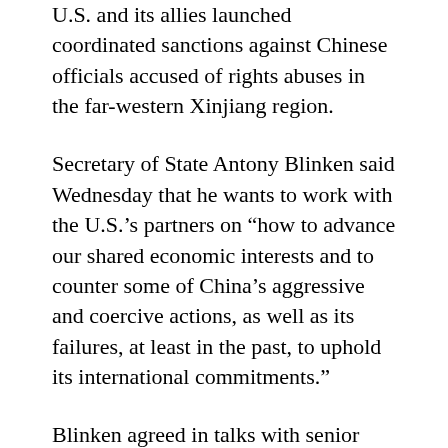U.S. and its allies launched coordinated sanctions against Chinese officials accused of rights abuses in the far-western Xinjiang region.
Secretary of State Antony Blinken said Wednesday that he wants to work with the U.S.'s partners on “how to advance our shared economic interests and to counter some of China’s aggressive and coercive actions, as well as its failures, at least in the past, to uphold its international commitments.”
Blinken agreed in talks with senior European Union officials on the launch of what EU foreign policy chief Josep Borrell described as